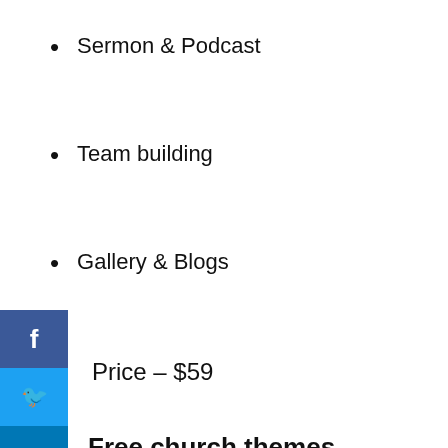Sermon & Podcast
Team building
Gallery & Blogs
Price – $59
Free church themes
The Church Lite
[Figure (screenshot): White image box placeholder below The Church Lite heading]
Cookie Settings